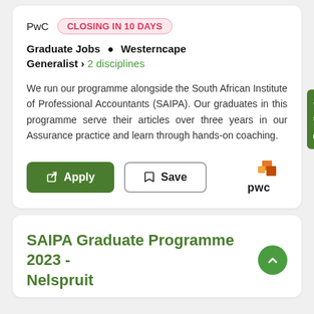PwC  CLOSING IN 10 DAYS
Graduate Jobs • Westerncape
Generalist › 2 disciplines
We run our programme alongside the South African Institute of Professional Accountants (SAIPA). Our graduates in this programme serve their articles over three years in our Assurance practice and learn through hands-on coaching.
[Figure (logo): PwC logo with orange block graphic and 'pwc' text in black]
SAIPA Graduate Programme 2023 - Nelspruit